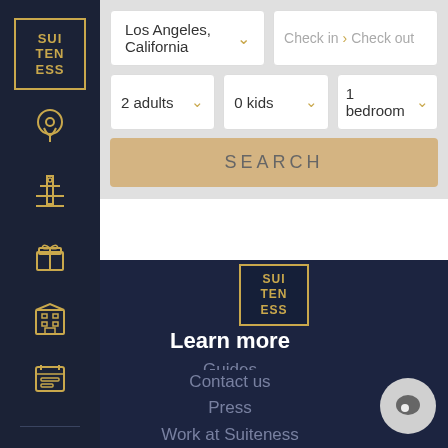[Figure (logo): Suiteness logo: SUI TEN ESS in a gold-bordered box on dark background]
Los Angeles, California
Check in  >  Check out
2 adults
0 kids
1 bedroom
SEARCH
[Figure (logo): Suiteness logo repeated in center of dark background area]
Learn more
Guides
About us
Reviews
Contact us
Press
Work at Suiteness
Hotel partners